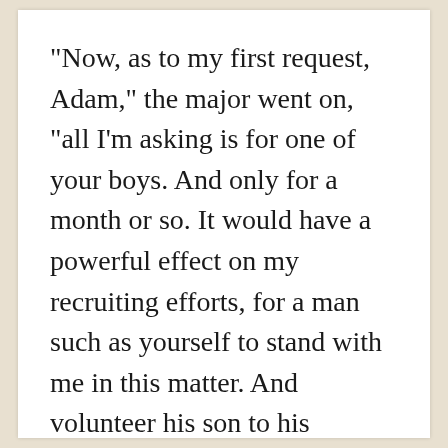"Now, as to my first request, Adam," the major went on, "all I'm asking is for one of your boys. And only for a month or so. It would have a powerful effect on my recruiting efforts, for a man such as yourself to stand with me in this matter. And volunteer his son to his country's call."
Mister Carter had blustered. But still the major pressed. Then he suddenly relented with good grace. He let the planter steer the